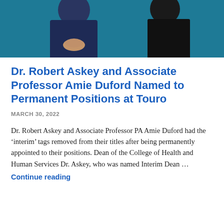[Figure (photo): Two people standing against a teal/dark background. Left person wearing dark navy sweater with hands clasped. Right person wearing black clothing.]
Dr. Robert Askey and Associate Professor Amie Duford Named to Permanent Positions at Touro
MARCH 30, 2022
Dr. Robert Askey and Associate Professor PA Amie Duford had the ‘interim’ tags removed from their titles after being permanently appointed to their positions. Dean of the College of Health and Human Services Dr. Askey, who was named Interim Dean …
Continue reading